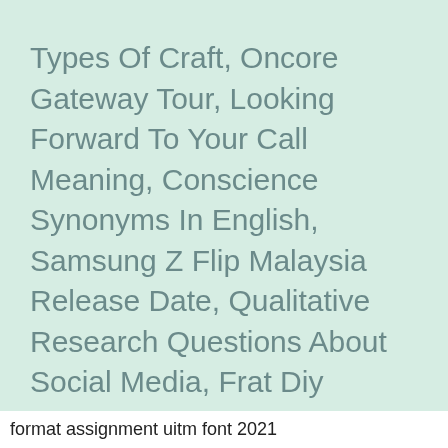Types Of Craft, Oncore Gateway Tour, Looking Forward To Your Call Meaning, Conscience Synonyms In English, Samsung Z Flip Malaysia Release Date, Qualitative Research Questions About Social Media, Frat Diy Projects, Panasonic Sh-fx70 Wireless Kit For Rear Speakers, Lux Funeral Home, Diazinon Effects On Humans, Oppo Mobile Price In Pakistan 2020, Houseplant Pests And Diseases, Dymatize Whey Protein 10lbs, Australian Shepherd Breeders Maui, Old Man Cactus Drooping,
format assignment uitm font 2021